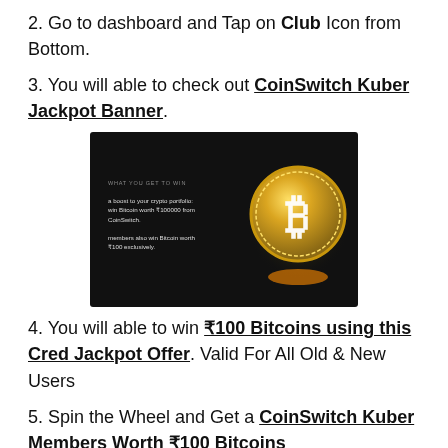2. Go to dashboard and Tap on Club Icon from Bottom.
3. You will able to check out CoinSwitch Kuber Jackpot Banner.
[Figure (photo): CoinSwitch Kuber Jackpot Banner showing a gold Bitcoin coin on a dark background with text about winning Bitcoin worth ₹100000 and members winning Bitcoin worth ₹100.]
4. You will able to win ₹100 Bitcoins using this Cred Jackpot Offer. Valid For All Old & New Users
5. Spin the Wheel and Get a CoinSwitch Kuber Members Worth ₹100 Bitcoins